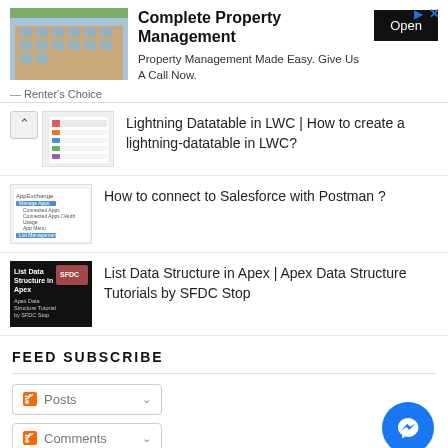[Figure (screenshot): Advertisement banner for Complete Property Management with building photo, Open button, and Renter's Choice label]
[Figure (screenshot): Thumbnail for Lightning Datatable in LWC article showing a list/table UI screenshot with chevron up icon]
Lightning Datatable in LWC | How to create a lightning-datatable in LWC?
[Figure (screenshot): Thumbnail for Salesforce Postman connection article showing App Manager menu screenshot]
How to connect to Salesforce with Postman ?
[Figure (screenshot): Thumbnail for List Data Structure in Apex article with dark background and white text]
List Data Structure in Apex | Apex Data Structure Tutorials by SFDC Stop
FEED SUBSCRIBE
Posts
Comments